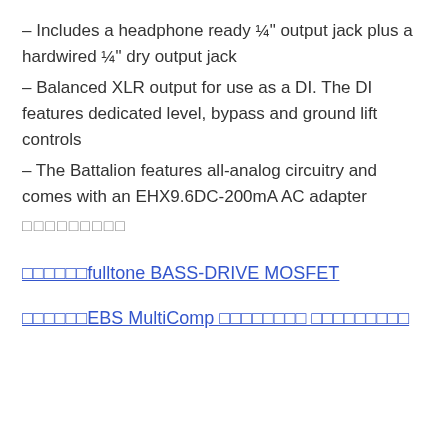– Includes a headphone ready ¼" output jack plus a hardwired ¼" dry output jack
– Balanced XLR output for use as a DI. The DI features dedicated level, bypass and ground lift controls
– The Battalion features all-analog circuitry and comes with an EHX9.6DC-200mA AC adapter
□□□□□□□□□
□□□□□□fulltone BASS-DRIVE MOSFET
□□□□□□EBS MultiComp □□□□□□□□ □□□□□□□□□